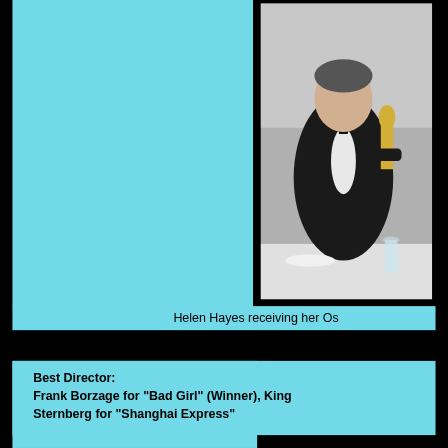[Figure (photo): Black and white photograph of Helen Hayes receiving her Oscar award, man in tuxedo standing at a dinner table holding an Oscar statuette, with a glass visible on the table]
Helen Hayes receiving her Os
Best Director:
Frank Borzage for "Bad Girl" (Winner), King
Sternberg for "Shanghai Express"